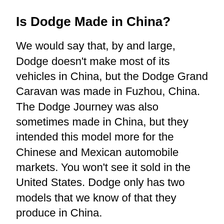Is Dodge Made in China?
We would say that, by and large, Dodge doesn’t make most of its vehicles in China, but the Dodge Grand Caravan was made in Fuzhou, China. The Dodge Journey was also sometimes made in China, but they intended this model more for the Chinese and Mexican automobile markets. You won’t see it sold in the United States. Dodge only has two models that we know of that they produce in China.